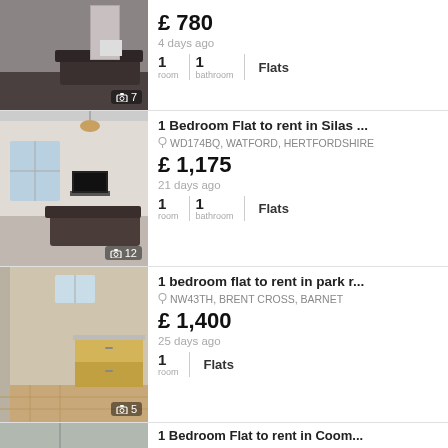[Figure (photo): Interior photo of a flat with sofa and living room, photo count badge: 7]
£ 780
4 days ago
1 room | 1 bathroom | Flats
[Figure (photo): Interior photo of a flat with TV and sofa, photo count badge: 12]
1 Bedroom Flat to rent in Silas ...
WD174BQ, WATFORD, HERTFORDSHIRE
£ 1,175
21 days ago
1 room | 1 bathroom | Flats
[Figure (photo): Interior photo of a flat with kitchen and wooden floor, photo count badge: 5]
1 bedroom flat to rent in park r...
NW43TH, BRENT CROSS, BARNET
£ 1,400
25 days ago
1 room | Flats
[Figure (photo): Partial interior photo of a flat (bottom of page, cut off)]
1 Bedroom Flat to rent in Coom...